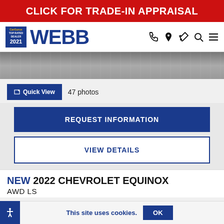CLICK FOR TRADE-IN APPRAISAL
[Figure (logo): Webb dealership logo with CarGurus Top Rated Dealer 2021 badge and navigation icons]
[Figure (photo): Partial view of a car image strip, gray background]
Quick View  47 photos
REQUEST INFORMATION
VIEW DETAILS
NEW 2022 CHEVROLET EQUINOX
AWD LS
This site uses cookies.  OK